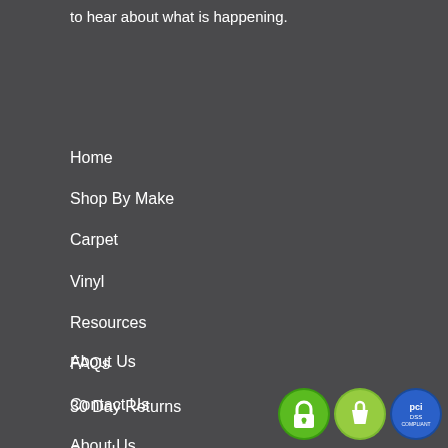to hear about what is happening.
Home
Shop By Make
Carpet
Vinyl
Resources
FAQs
Contact Us
About Us
About Us
30 Day Returns
Search
[Figure (logo): Three security/trust badges: a green padlock badge, a Shopify badge, and a PCI compliance badge]